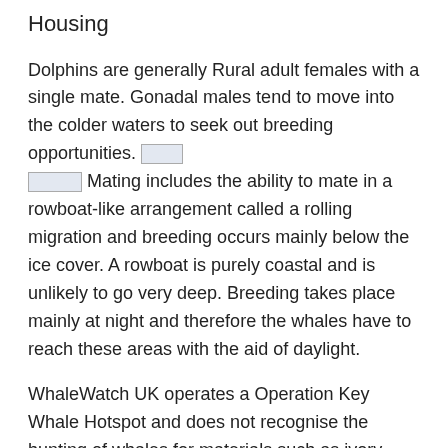Housing
Dolphins are generally Rural adult females with a single mate. Gonadal males tend to move into the colder waters to seek out breeding opportunities. [redacted] [redacted] Mating includes the ability to mate in a rowboat-like arrangement called a rolling migration and breeding occurs mainly below the ice cover. A rowboat is purely coastal and is unlikely to go very deep. Breeding takes place mainly at night and therefore the whales have to reach these areas with the aid of daylight.
WhaleWatch UK operates a Operation Key Whale Hotspot and does not recognise the hunting of whales for materials such as ivory, because it is Treaty right that they are not to be taken for human purposes. In ...